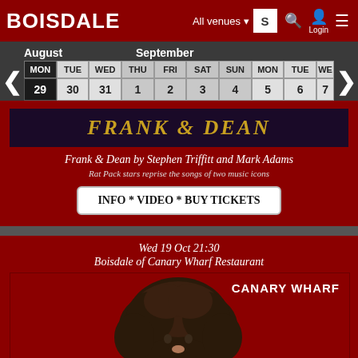BOISDALE — All venues — S — Login
| MON | TUE | WED | THU | FRI | SAT | SUN | MON | TUE | WED |
| --- | --- | --- | --- | --- | --- | --- | --- | --- | --- |
| 29 | 30 | 31 | 1 | 2 | 3 | 4 | 5 | 6 | 7 |
[Figure (photo): Frank & Dean show title banner in gold italic text on dark purple/black background]
Frank & Dean by Stephen Triffitt and Mark Adams
Rat Pack stars reprise the songs of two music icons
INFO * VIDEO * BUY TICKETS
Wed 19 Oct 21:30
Boisdale of Canary Wharf Restaurant
[Figure (photo): Person with curly dark hair against red background with CANARY WHARF text overlay]